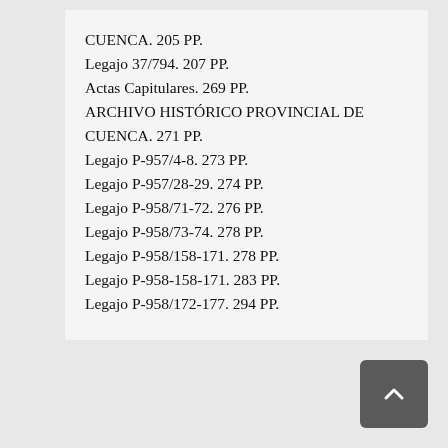CUENCA. 205 PP.
Legajo 37/794. 207 PP.
Actas Capitulares. 269 PP.
ARCHIVO HISTÓRICO PROVINCIAL DE CUENCA. 271 PP.
Legajo P-957/4-8. 273 PP.
Legajo P-957/28-29. 274 PP.
Legajo P-958/71-72. 276 PP.
Legajo P-958/73-74. 278 PP.
Legajo P-958/158-171. 278 PP.
Legajo P-958-158-171. 283 PP.
Legajo P-958/172-177. 294 PP.